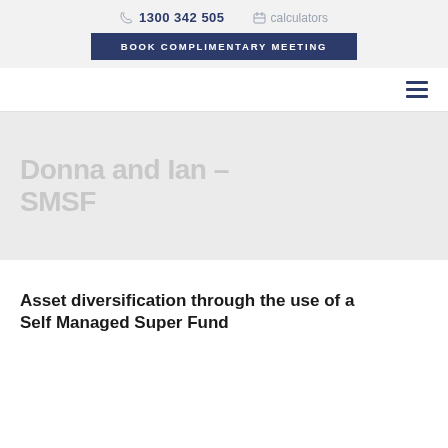1300 342 505   calculators   BOOK COMPLIMENTARY MEETING
Donna and Ian – SMSF
Asset diversification through the use of a Self Managed Super Fund